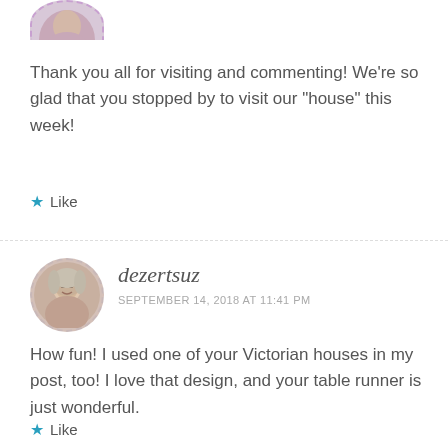[Figure (photo): Partial circular avatar image with dashed purple border, cropped at top of page]
Thank you all for visiting and commenting! We're so glad that you stopped by to visit our “house” this week!
★ Like
[Figure (photo): Circular avatar photo of a woman with gray/blonde hair, smiling, with dashed gray border]
dezertsuz
SEPTEMBER 14, 2018 AT 11:41 PM
How fun! I used one of your Victorian houses in my post, too! I love that design, and your table runner is just wonderful.
★ Like